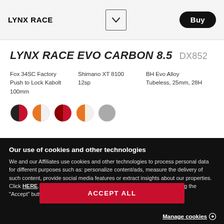LYNX RACE
LYNX RACE EVO CARBON 8.5  DX852
Fox 34SC Factory Push to Lock Kabolt 100mm
Shimano XT 8100 12sp
BH Evo Alloy Tubeless, 25mm, 28H
[Figure (illustration): Five color swatches: black/red half-circle, orange/white half-circle, red/dark-red half-circle, orange/white half-circle, and a plain grey circle]
Our use of cookies and other technologies
We and our Affiliates use cookies and other technologies to process personal data for different purposes such as: personalize content/ads, measure the delivery of such content, provide social media features or extract insights about our properties. Click HERE. for more information. You can accept all cookies by pressing the "Accept" button or manage them by clicking HERE
ACCEPT ALL
Manage cookies →